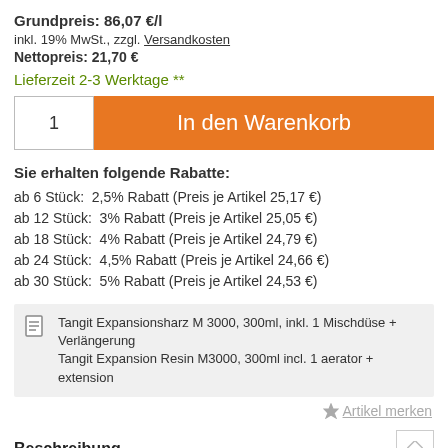Grundpreis: 86,07 €/l
inkl. 19% MwSt., zzgl. Versandkosten
Nettopreis: 21,70 €
Lieferzeit 2-3 Werktage **
1   In den Warenkorb
Sie erhalten folgende Rabatte:
ab 6 Stück:  2,5% Rabatt (Preis je Artikel 25,17 €)
ab 12 Stück:  3% Rabatt (Preis je Artikel 25,05 €)
ab 18 Stück:  4% Rabatt (Preis je Artikel 24,79 €)
ab 24 Stück:  4,5% Rabatt (Preis je Artikel 24,66 €)
ab 30 Stück:  5% Rabatt (Preis je Artikel 24,53 €)
Tangit Expansionsharz M 3000, 300ml, inkl. 1 Mischdüse + Verlängerung
Tangit Expansion Resin M3000, 300ml incl. 1 aerator + extension
Artikel merken
Beschreibung